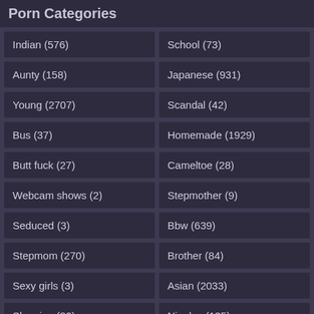Porn Categories
Indian (576)
School (73)
Aunty (158)
Japanese (931)
Young (2707)
Scandal (42)
Bus (37)
Homemade (1929)
Butt fuck (27)
Cameltoe (28)
Webcam shows (2)
Stepmother (9)
Seduced (3)
Bbw (639)
Stepmom (270)
Brother (84)
Sexy girls (3)
Asian (2033)
Sleeping (82)
Nipples (135)
Sixty nine (1)
Arab (356)